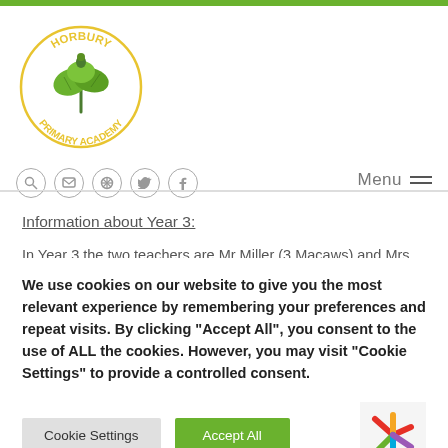[Figure (logo): Horbury Primary Academy circular logo with green leaves and gold text]
[Figure (other): Navigation icon bar with search, message, accessibility, twitter, and facebook icons; Menu button on the right]
Information about Year 3:
In Year 3 the two teachers are Mr Miller (3 Macaws) and Mrs
We use cookies on our website to give you the most relevant experience by remembering your preferences and repeat visits. By clicking "Accept All", you consent to the use of ALL the cookies. However, you may visit "Cookie Settings" to provide a controlled consent.
Cookie Settings | Accept All